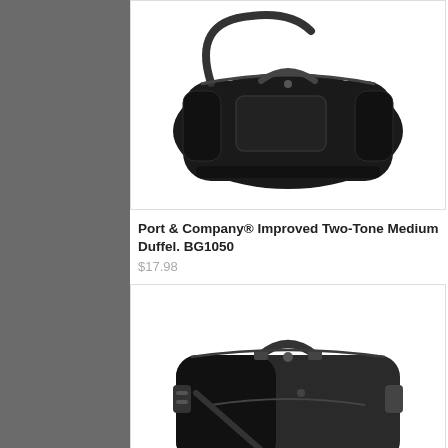[Figure (photo): Black two-tone duffel bag with shoulder strap, Port & Company BG1050 style, viewed from front-side angle]
Port & Company® Improved Two-Tone Medium Duffel. BG1050
$17.98
[Figure (photo): Black two-tone sport duffel bag with top carry handles and shoulder strap clips, viewed from front-side angle]